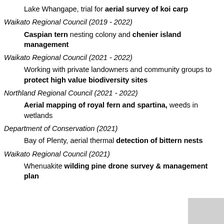Lake Whangape, trial for aerial survey of koi carp
Waikato Regional Council (2019 - 2022)
Caspian tern nesting colony and chenier island management
Waikato Regional Council (2021 - 2022)
Working with private landowners and community groups to protect high value biodiversity sites
Northland Regional Council (2021 - 2022)
Aerial mapping of royal fern and spartina, weeds in wetlands
Department of Conservation (2021)
Bay of Plenty, aerial thermal detection of bittern nests
Waikato Regional Council (2021)
Whenuakite wilding pine drone survey & management plan